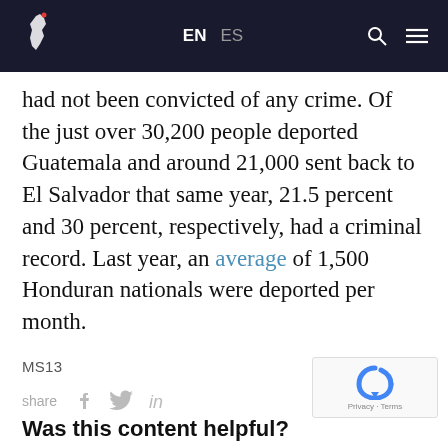EN ES
had not been convicted of any crime. Of the just over 30,200 people deported Guatemala and around 21,000 sent back to El Salvador that same year, 21.5 percent and 30 percent, respectively, had a criminal record. Last year, an average of 1,500 Honduran nationals were deported per month.
MS13
share
Was this content helpful?